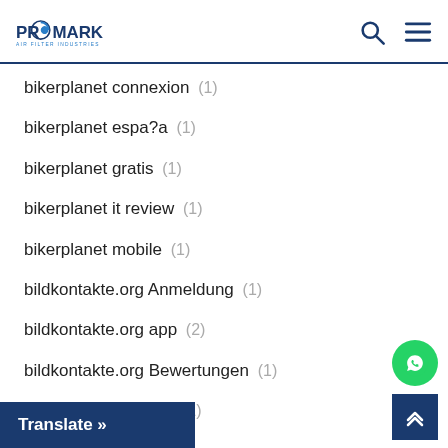PROMARK AIR FILTER INDUSTRIES
bikerplanet connexion (1)
bikerplanet espa?a (1)
bikerplanet gratis (1)
bikerplanet it review (1)
bikerplanet mobile (1)
bildkontakte.org Anmeldung (1)
bildkontakte.org app (2)
bildkontakte.org Bewertungen (1)
b… ting-Apps (1)
Translate »